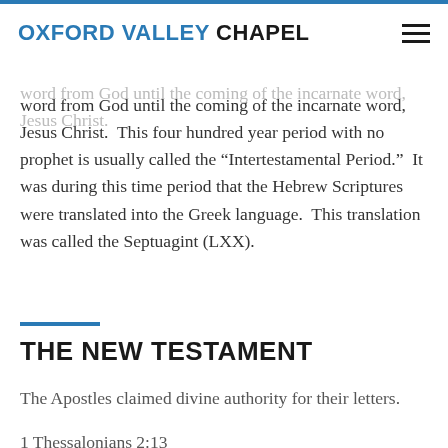OXFORD VALLEY CHAPEL
word from God until the coming of the incarnate word, Jesus Christ.  This four hundred year period with no prophet is usually called the “Intertestamental Period.”  It was during this time period that the Hebrew Scriptures were translated into the Greek language.  This translation was called the Septuagint (LXX).
THE NEW TESTAMENT
The Apostles claimed divine authority for their letters.
1 Thessalonians 2:13